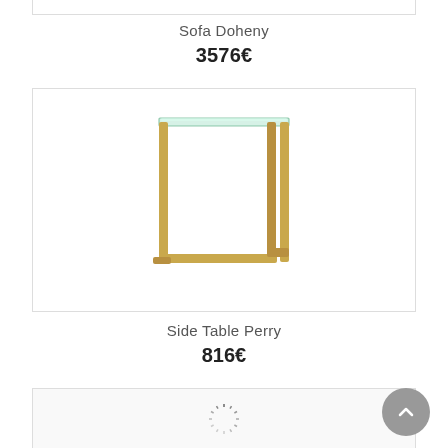[Figure (photo): Partial top edge of a product card visible at the very top of the page]
Sofa Doheny
3576€
[Figure (photo): Side Table Perry — a C-shaped gold/brass metal frame side table with a clear glass top, photographed on white background]
Side Table Perry
816€
[Figure (other): Partial product card at bottom of page with a loading spinner icon in center]
[Figure (other): Grey circular back-to-top button with upward chevron arrow in the bottom right corner]